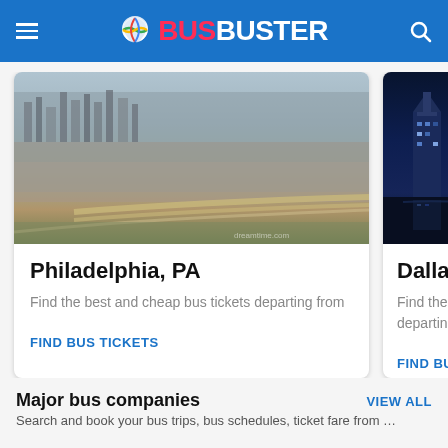BusBuster
[Figure (photo): Aerial view of Philadelphia city dense urban landscape with highway interchanges]
Philadelphia, PA
Find the best and cheap bus tickets departing from
FIND BUS TICKETS
[Figure (photo): Dallas city skyline at night with illuminated skyscrapers reflected in water]
Dallas, TX
Find the best departing fro
FIND BUS T
Major bus companies
VIEW ALL
Search and book your bus trips, bus schedules, ticket fare from …